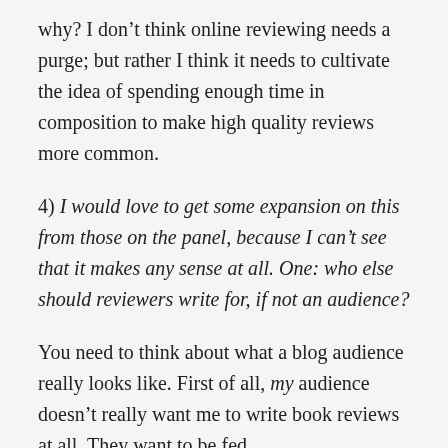why? I don't think online reviewing needs a purge; but rather I think it needs to cultivate the idea of spending enough time in composition to make high quality reviews more common.
4) I would love to get some expansion on this from those on the panel, because I can't see that it makes any sense at all. One: who else should reviewers write for, if not an audience?
You need to think about what a blog audience really looks like. First of all, my audience doesn't really want me to write book reviews at all. They want to be fed